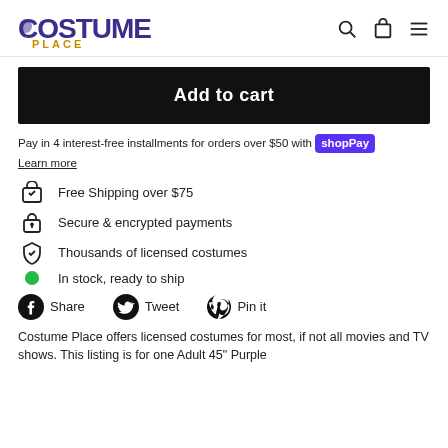COSTUME PLACE
Add to cart
Pay in 4 interest-free installments for orders over $50 with shop Pay
Learn more
Free Shipping over $75
Secure & encrypted payments
Thousands of licensed costumes
In stock, ready to ship
Share  Tweet  Pin it
Costume Place offers licensed costumes for most, if not all movies and TV shows. This listing is for one Adult 45" Purple